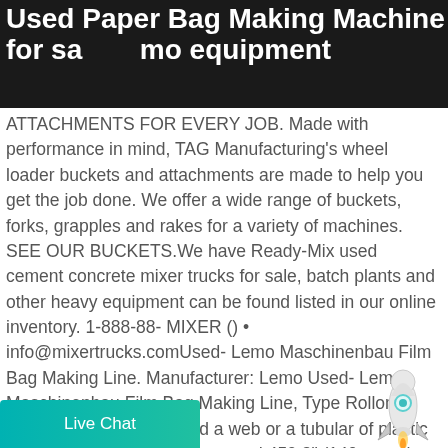Used Paper Bag Making Machine for sa[SKS logo]mo equipment
ATTACHMENTS FOR EVERY JOB. Made with performance in mind, TAG Manufacturing's wheel loader buckets and attachments are made to help you get the job done. We offer a wide range of buckets, forks, grapples and rakes for a variety of machines. SEE OUR BUCKETS.We have Ready-Mix used cement concrete mixer trucks for sale, batch plants and other heavy equipment can be found listed in our online inventory. 1-888-88- MIXER () • info@mixertrucks.comUsed- Lemo Maschinenbau Film Bag Making Line. Manufacturer: Lemo Used- Lemo Maschinenbau Film Bag Making Line, Type Rollomat Varitronic .1. Used to weld a web or a tubular of plastic film into HDPE bag s. Line speed 459.3" (140 meter) per minute.
[Figure (logo): SKS crusher expert logo with orange/yellow geometric mark]
[Figure (illustration): Rocket mascot illustration at bottom right]
Live Chat